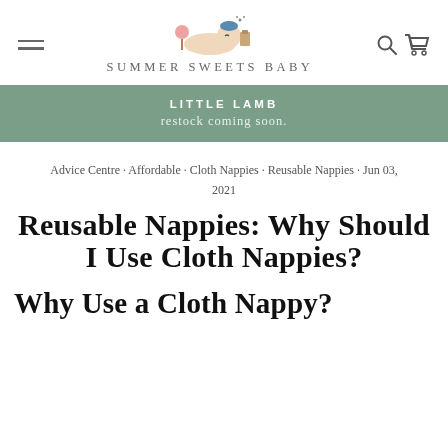SUMMER SWEETS BABY
LITTLE LAMB
restock coming soon.
Advice Centre · Affordable · Cloth Nappies · Reusable Nappies · Jun 03, 2021
REUSABLE NAPPIES: WHY SHOULD I USE CLOTH NAPPIES?
WHY USE A CLOTH NAPPY?